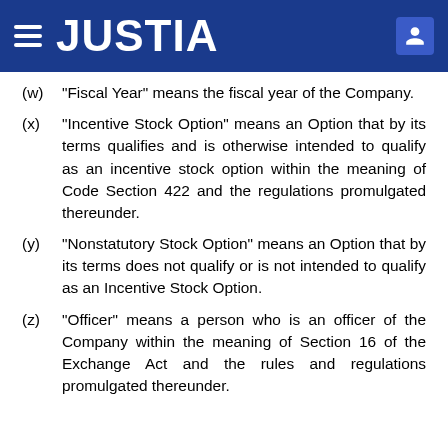JUSTIA
(w) “Fiscal Year” means the fiscal year of the Company.
(x) “Incentive Stock Option” means an Option that by its terms qualifies and is otherwise intended to qualify as an incentive stock option within the meaning of Code Section 422 and the regulations promulgated thereunder.
(y) “Nonstatutory Stock Option” means an Option that by its terms does not qualify or is not intended to qualify as an Incentive Stock Option.
(z) “Officer” means a person who is an officer of the Company within the meaning of Section 16 of the Exchange Act and the rules and regulations promulgated thereunder.